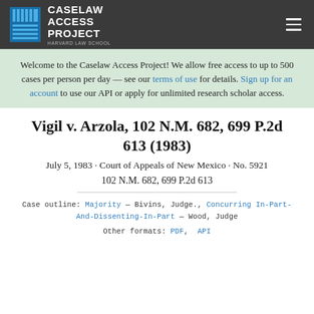CASELAW ACCESS PROJECT HARVARD LAW SCHOOL
Welcome to the Caselaw Access Project! We allow free access to up to 500 cases per person per day — see our terms of use for details. Sign up for an account to use our API or apply for unlimited research scholar access.
Vigil v. Arzola, 102 N.M. 682, 699 P.2d 613 (1983)
July 5, 1983 · Court of Appeals of New Mexico · No. 5921
102 N.M. 682, 699 P.2d 613
Case outline: Majority — Bivins, Judge., Concurring In-Part-And-Dissenting-In-Part — Wood, Judge
Other formats: PDF, API